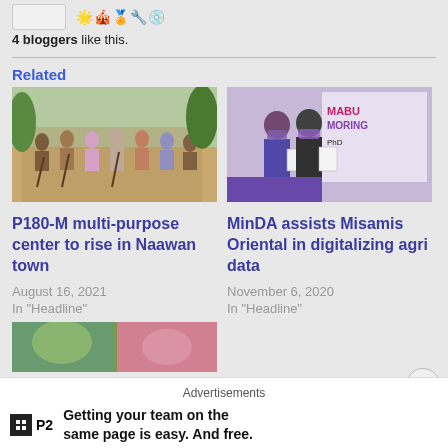4 bloggers like this.
Related
[Figure (photo): Group of people at a groundbreaking ceremony with shovels outdoors]
P180-M multi-purpose center to rise in Naawan town
August 16, 2021
In "Headline"
[Figure (photo): Two men in purple masks holding documents in front of a Mabuting Moring backdrop]
MinDA assists Misamis Oriental in digitalizing agri data
November 6, 2020
In "Headline"
[Figure (photo): Partial view of a third related article image with green/nature tones]
Advertisements
Getting your team on the same page is easy. And free.